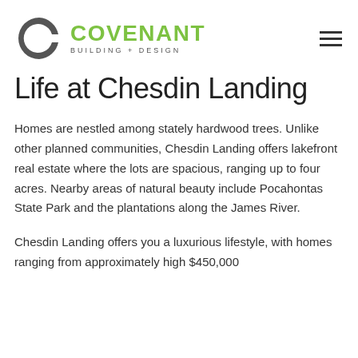[Figure (logo): Covenant Building + Design logo: a dark grey stylized letter C followed by the word COVENANT in bold green uppercase text, with BUILDING + DESIGN in small grey spaced uppercase text below.]
Life at Chesdin Landing
Homes are nestled among stately hardwood trees. Unlike other planned communities, Chesdin Landing offers lakefront real estate where the lots are spacious, ranging up to four acres. Nearby areas of natural beauty include Pocahontas State Park and the plantations along the James River.
Chesdin Landing offers you a luxurious lifestyle, with homes ranging from approximately high $450,000